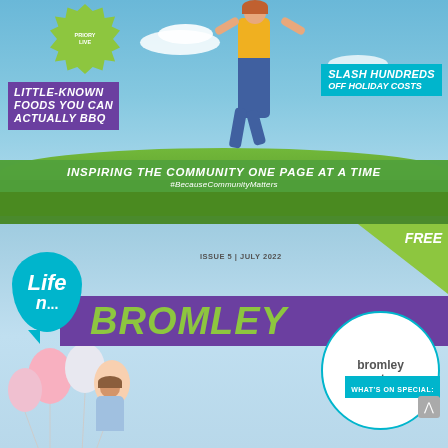[Figure (illustration): Top half: magazine cover section showing woman jumping in a green field under blue sky, with promotional text overlays and green banner.]
PRIORY LIVE
LITTLE-KNOWN FOODS YOU CAN ACTUALLY BBQ
SLASH HUNDREDS OFF HOLIDAY COSTS
INSPIRING THE COMMUNITY ONE PAGE AT A TIME
#BecauseCommunityMatters
[Figure (illustration): Bottom half: Life In Bromley magazine cover with teal speech bubble logo, purple BROMLEY ribbon, balloons, and Bromley Arts Festival circle badge.]
FREE
ISSUE 5 | JULY 2022
Life n... BROMLEY
WHAT'S ON SPECIAL: bromley arts festival